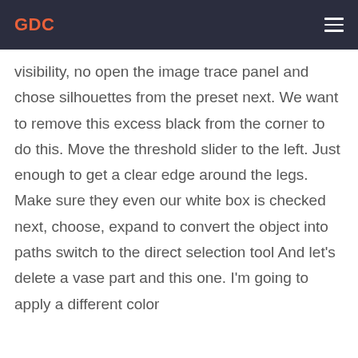GDC
visibility, no open the image trace panel and chose silhouettes from the preset next. We want to remove this excess black from the corner to do this. Move the threshold slider to the left. Just enough to get a clear edge around the legs. Make sure they even our white box is checked next, choose, expand to convert the object into paths switch to the direct selection tool And let's delete a vase part and this one. I'm going to apply a different color